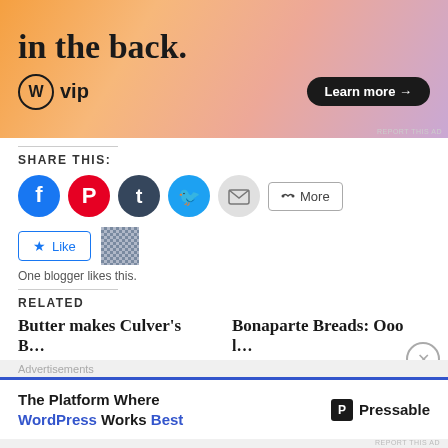[Figure (screenshot): WordPress VIP advertisement banner with orange/pink gradient background, text 'in the back.', WordPress VIP logo, and 'Learn more →' button]
SHARE THIS:
[Figure (infographic): Social sharing icons: Facebook, Pinterest, Tumblr, Twitter, Email, and More button]
[Figure (infographic): WordPress Like button with star icon and blogger avatar image]
One blogger likes this.
RELATED
Butter makes Culver's B...
Bonaparte Breads: Ooo l...
[Figure (screenshot): Bottom advertisement: 'The Platform Where WordPress Works Best' - Pressable]